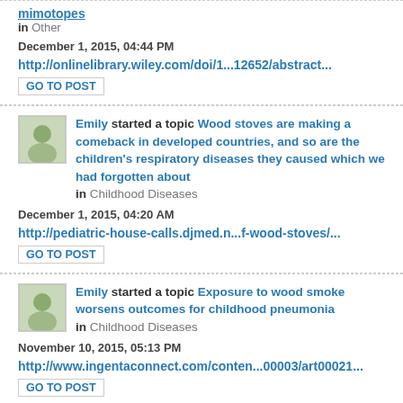mimotopes in Other
December 1, 2015, 04:44 PM
http://onlinelibrary.wiley.com/doi/1...12652/abstract...
GO TO POST
Emily started a topic Wood stoves are making a comeback in developed countries, and so are the children's respiratory diseases they caused which we had forgotten about in Childhood Diseases
December 1, 2015, 04:20 AM
http://pediatric-house-calls.djmed.n...f-wood-stoves/...
GO TO POST
Emily started a topic Exposure to wood smoke worsens outcomes for childhood pneumonia in Childhood Diseases
November 10, 2015, 05:13 PM
http://www.ingentaconnect.com/conten...00003/art00021...
GO TO POST